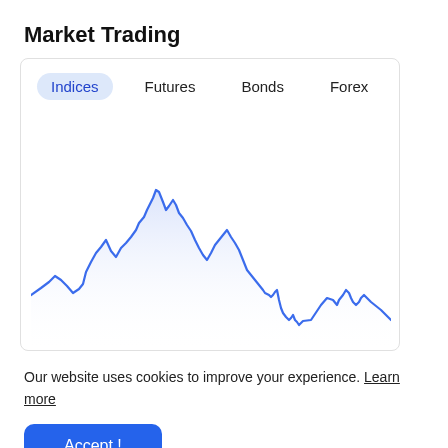Market Trading
[Figure (continuous-plot): Area line chart showing market index data with tabs for Indices (active), Futures, Bonds, Forex. The chart shows a volatile line in blue with a light blue fill, with a large peak in the left-center region, then a gradual decline toward the right with smaller peaks near the bottom right.]
Our website uses cookies to improve your experience. Learn more
Accept !